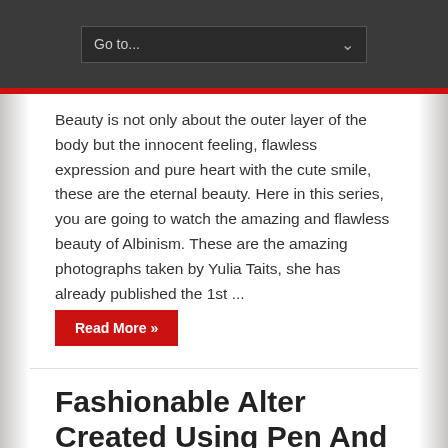Go to...
Beauty is not only about the outer layer of the body but the innocent feeling, flawless expression and pure heart with the cute smile, these are the eternal beauty. Here in this series, you are going to watch the amazing and flawless beauty of Albinism. These are the amazing photographs taken by Yulia Taits, she has already published the 1st ...
Read More »
Fashionable Alter Created Using Pen And Beautiful Flowers
June 30, 2017   Leave a comment   876 Views